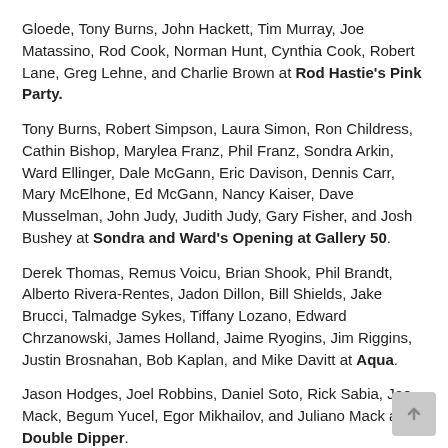Gloede, Tony Burns, John Hackett, Tim Murray, Joe Matassino, Rod Cook, Norman Hunt, Cynthia Cook, Robert Lane, Greg Lehne, and Charlie Brown at Rod Hastie's Pink Party.
Tony Burns, Robert Simpson, Laura Simon, Ron Childress, Cathin Bishop, Marylea Franz, Phil Franz, Sondra Arkin, Ward Ellinger, Dale McGann, Eric Davison, Dennis Carr, Mary McElhone, Ed McGann, Nancy Kaiser, Dave Musselman, John Judy, Judith Judy, Gary Fisher, and Josh Bushey at Sondra and Ward's Opening at Gallery 50.
Derek Thomas, Remus Voicu, Brian Shook, Phil Brandt, Alberto Rivera-Rentes, Jadon Dillon, Bill Shields, Jake Brucci, Talmadge Sykes, Tiffany Lozano, Edward Chrzanowski, James Holland, Jaime Ryogins, Jim Riggins, Justin Brosnahan, Bob Kaplan, and Mike Davitt at Aqua.
Jason Hodges, Joel Robbins, Daniel Soto, Rick Sabia, Joe Mack, Begum Yucel, Egor Mikhailov, and Juliano Mack at Double Dipper.
Lori Kline, Raymond Thomas, and Jen Booth at Lori's Café.